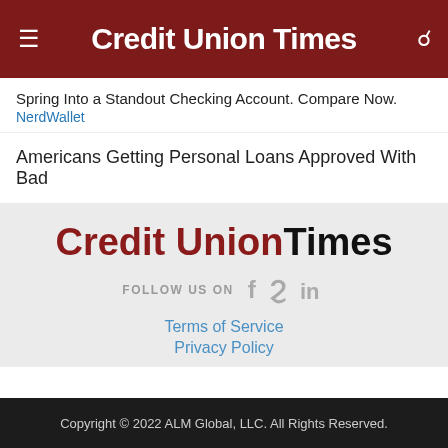Credit Union Times
Spring Into a Standout Checking Account. Compare Now.
NerdWallet
Americans Getting Personal Loans Approved With Bad
[Figure (logo): Credit Union Times logo in dark red and black on light gray background]
FOLLOW US ON  f  (bird)  in
Terms of Service
Privacy Policy
Copyright © 2022 ALM Global, LLC. All Rights Reserved.